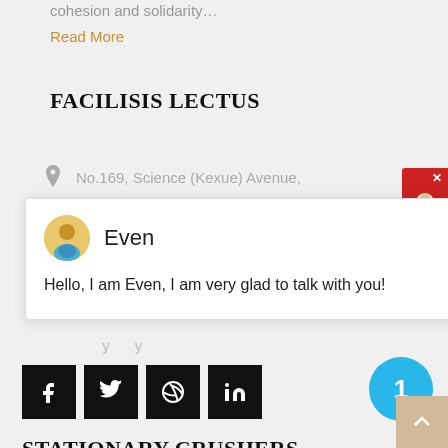cohesion and solidarity…
Read More
FACILISIS LECTUS
No.169, Science (Kexue) Avenue,
[Figure (screenshot): Chat popup with avatar of agent named Even, close button (×), and message: Hello, I am Even, I am very glad to talk with you!]
[partial address line]
[Figure (infographic): Four black social media icon buttons: Facebook (f), Twitter (bird), Dribbble (ball), LinkedIn (in)]
[Figure (other): Blue circle with number 1]
STATIONARY CRUSHERS